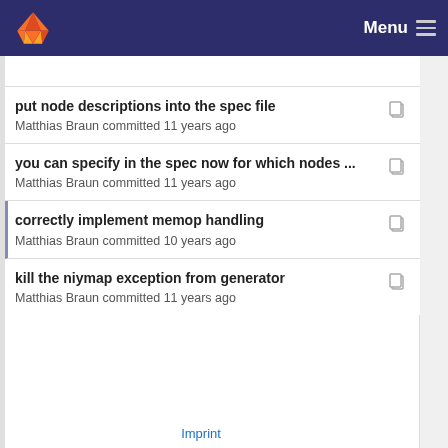Menu
put node descriptions into the spec file
Matthias Braun committed 11 years ago
you can specify in the spec now for which nodes ...
Matthias Braun committed 11 years ago
correctly implement memop handling
Matthias Braun committed 10 years ago
kill the niymap exception from generator
Matthias Braun committed 11 years ago
Imprint